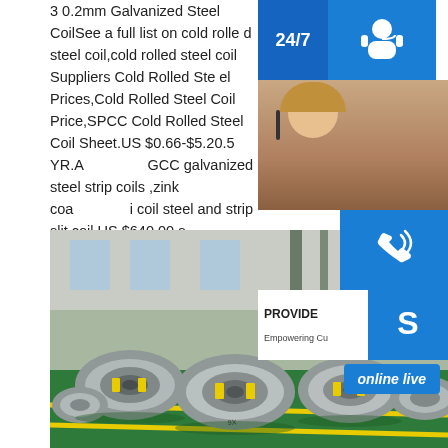3 0.2mm Galvanized Steel CoilSee a full list on cold rolled steel coil,cold rolled steel coil Suppliers Cold Rolled Steel Prices,Cold Rolled Steel Coil Price,SPCC Cold Rolled Steel Coil Sheet.US $0.66-$5.20.5 YR.A GCC galvanized steel strip coils ,zink coated i coil steel and strip slit coil.US $640.00.s ucture Steel Coil - Miele Metal
[Figure (photo): Industrial photo of multiple steel coils/rolls stacked on a green floor inside a factory warehouse]
[Figure (infographic): Customer service sidebar showing 24/7 support icon, phone icon, Skype icon, PROVIDE/Empowering Customers text, and online live button]